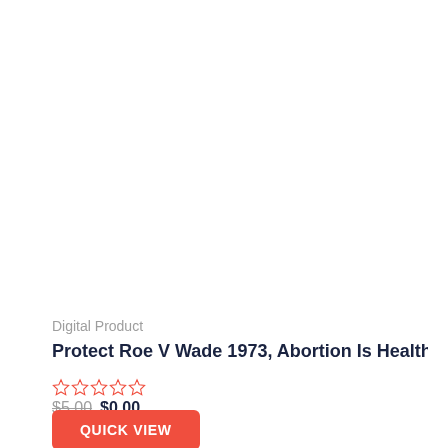[Figure (photo): White/blank product image area for a digital product listing]
Digital Product
Protect Roe V Wade 1973, Abortion Is Healthcare vintage T-Shirt...
☆☆☆☆☆
$5.00 $0.00
QUICK VIEW